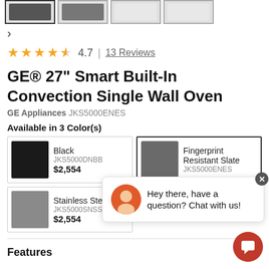[Figure (photo): Row of four product thumbnail images for the wall oven, first one selected with a border]
>
★★★★½  4.7  |  13 Reviews
GE® 27" Smart Built-In Convection Single Wall Oven
GE Appliances JKS5000ENES
Available in 3 Color(s)
| Image | Color | SKU | Price |
| --- | --- | --- | --- |
| [black oven image] | Black | JKS5000DNBB | $2,554 |
| [slate oven image] | Fingerprint Resistant Slate | JKS5000ENES |  |
| [steel oven image] | Stainless Steel | JKS5000SNSS | $2,554 |
Hey there, have a question? Chat with us!
Features